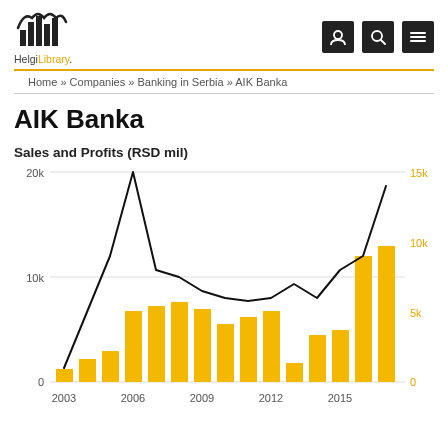[Figure (logo): Helgi Library logo with bar chart icon and text]
Home » Companies » Banking in Serbia » AIK Banka
AIK Banka
[Figure (grouped-bar-chart): Sales and Profits (RSD mil)]